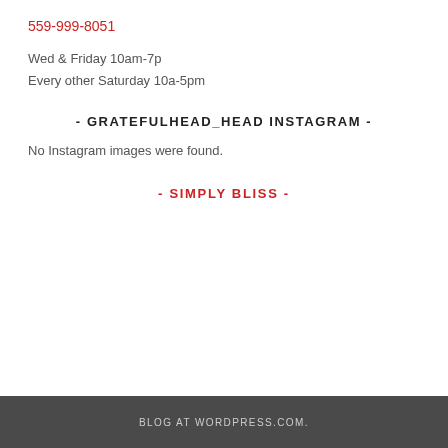559-999-8051
Wed & Friday 10am-7p
Every other Saturday 10a-5pm
- GRATEFULHEAD_HEAD INSTAGRAM -
No Instagram images were found.
- SIMPLY BLISS -
BLOG AT WORDPRESS.COM.